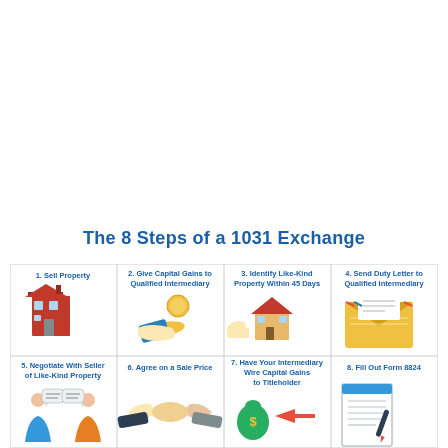The 8 Steps of a 1031 Exchange
[Figure (infographic): 8-step infographic for a 1031 Exchange in a 4x2 grid. Step 1: Sell Property (building icon). Step 2: Give Capital Gains to Qualified Intermediary (hand with coin icon). Step 3: Identify Like-Kind Property Within 45 Days (finger pointing at house icon). Step 4: Send Duty Letter to Qualified Intermediary (envelope icon). Step 5: Negotiate With Seller of Like-Kind Property (two people talking icon). Step 6: Agree on a Sale Price (handshake icon). Step 7: Have Your Intermediary Wire Capital Gains to Titleholder (money bag with arrow icon). Step 8: Fill Out Form 8824 (document with pen icon).]